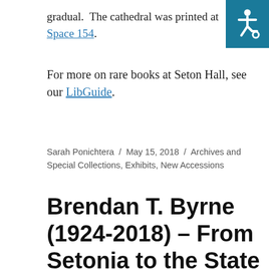gradual.  The cathedral was printed at Space 154.
For more on rare books at Seton Hall, see our LibGuide.
Sarah Ponichtera / May 15, 2018 / Archives and Special Collections, Exhibits, New Accessions
Brendan T. Byrne (1924-2018) – From Setonia to the State House, A Life of Public Service